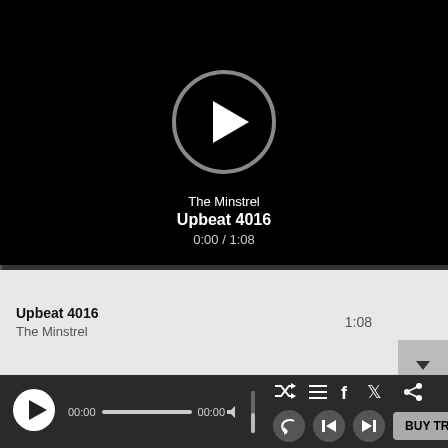[Figure (screenshot): Music player video area with black background and circular play button in center]
The Minstrel
Upbeat 4016
0:00 / 1:08
Upbeat 4016
The Minstrel
1:08
[Figure (screenshot): Bottom playback controls bar with play button, seek bar, volume slider, shuffle/list/social icons, previous/next buttons, and BUY TRACK button]